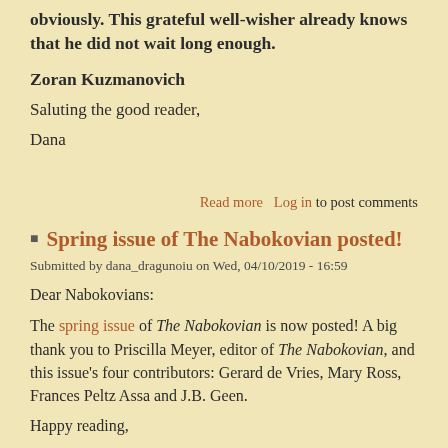obviously. This grateful well-wisher already knows that he did not wait long enough.
Zoran Kuzmanovich
Saluting the good reader,
Dana
Read more  Log in to post comments
Spring issue of The Nabokovian posted!
Submitted by dana_dragunoiu on Wed, 04/10/2019 - 16:59
Dear Nabokovians:
The spring issue of The Nabokovian is now posted! A big thank you to Priscilla Meyer, editor of The Nabokovian, and this issue's four contributors: Gerard de Vries, Mary Ross, Frances Peltz Assa and J.B. Geen.
Happy reading,